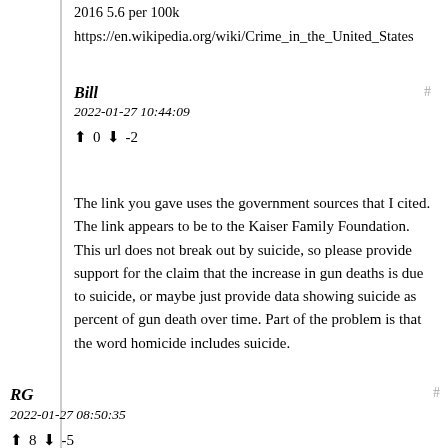2016 5.6 per 100k
https://en.wikipedia.org/wiki/Crime_in_the_United_States
Bill
2022-01-27 10:44:09
▲ 0 ▼ -2
The link you gave uses the government sources that I cited. The link appears to be to the Kaiser Family Foundation. This url does not break out by suicide, so please provide support for the claim that the increase in gun deaths is due to suicide, or maybe just provide data showing suicide as percent of gun death over time. Part of the problem is that the word homicide includes suicide.
RG
2022-01-27 08:50:35
▲ 8 ▼ -5